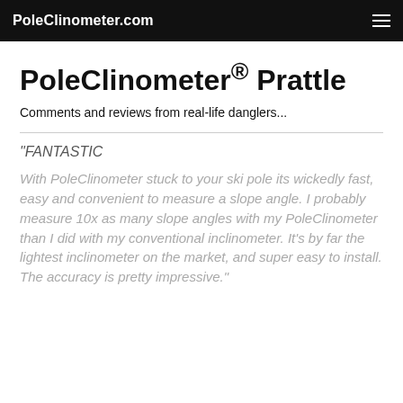PoleClinometer.com
PoleClinometer® Prattle
Comments and reviews from real-life danglers...
"FANTASTIC
With PoleClinometer stuck to your ski pole its wickedly fast, easy and convenient to measure a slope angle. I probably measure 10x as many slope angles with my PoleClinometer than I did with my conventional inclinometer. It's by far the lightest inclinometer on the market, and super easy to install. The accuracy is pretty impressive."